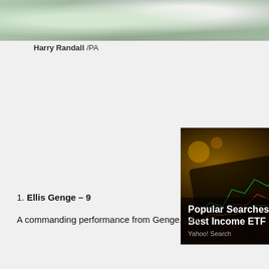[Figure (photo): Cropped sports photo showing a player in white jersey, green background]
Harry Randall /PA
[Figure (infographic): Advertisement: Popular Searches for Best Income ETF - Yahoo! Search, showing hand touching a tablet with financial charts]
1. Ellis Genge – 9
A commanding performance from Genge, who